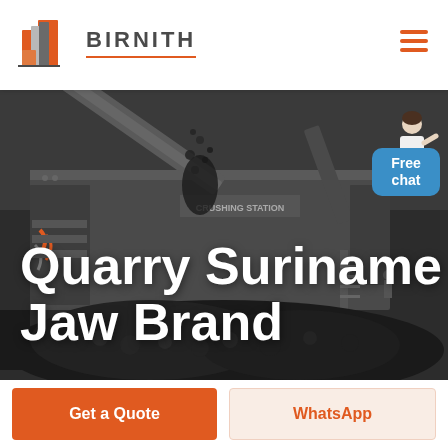BIRNITH
[Figure (photo): Industrial crushing station machinery with large conveyor belts and heavy equipment, coal/rock pile in foreground, dark industrial setting]
Quarry Suriname Jaw Brand
Free chat
Get a Quote
WhatsApp